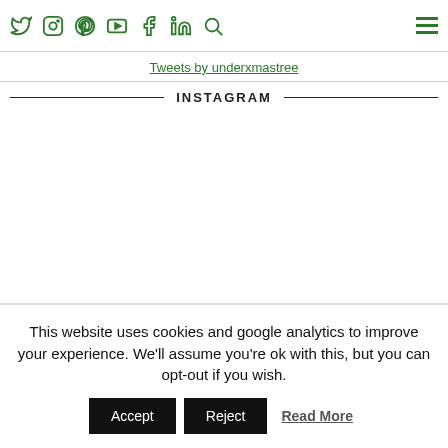Social media navigation bar with Twitter, Instagram, Pinterest, YouTube, Facebook, LinkedIn, Search icons and hamburger menu
Tweets by underxmastree
INSTAGRAM
This website uses cookies and google analytics to improve your experience. We'll assume you're ok with this, but you can opt-out if you wish. Accept  Reject  Read More